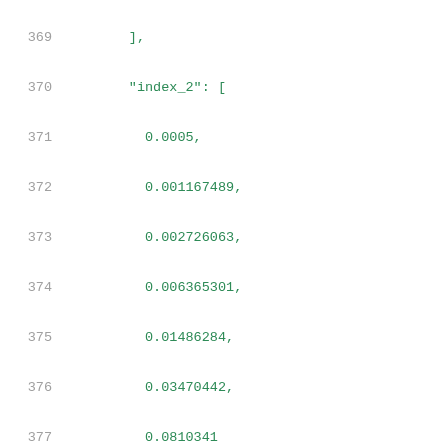Code listing lines 369-390 showing JSON data with index_2 and values arrays containing floating point numbers